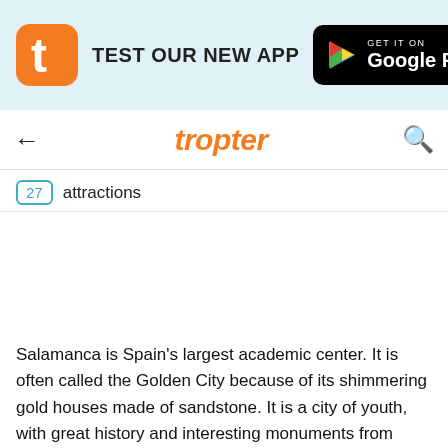[Figure (screenshot): Tropter app banner with orange Tropter icon, text 'TEST OUR NEW APP', and Google Play button on light blue background]
tropter
27  attractions
Salamanca is Spain's largest academic center. It is often called the Golden City because of its shimmering gold houses made of sandstone. It is a city of youth, with great history and interesting monuments from different eras.